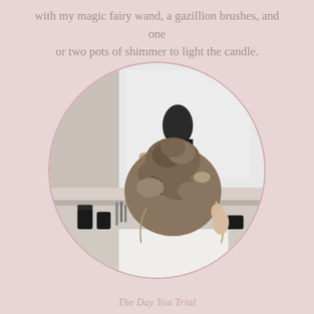with my magic fairy wand, a gazillion brushes, and one or two pots of shimmer to light the candle.
[Figure (photo): Circular cropped photograph of a woman viewed from behind, showing an elegant updo hairstyle with curls and waves. She is wearing a white top. A makeup counter with mirrors and beauty tools is visible in the background, along with another person in a dark outfit.]
The Day You Trial